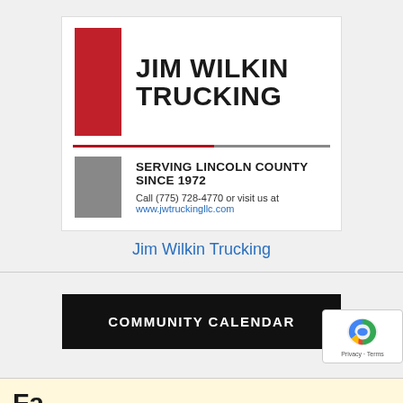[Figure (logo): Jim Wilkin Trucking advertisement with red rectangle logo, company name in bold black, gray square image, serving Lincoln County since 1972 text, and contact info with website link]
Jim Wilkin Trucking
COMMUNITY CALENDAR
Fa...